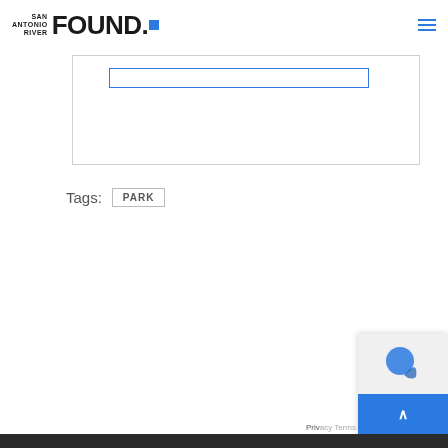SAN ANTONIO RIVER FOUND.
[Figure (screenshot): Partial view of a web form input field with blue border inside a white bordered box]
Tags: PARK